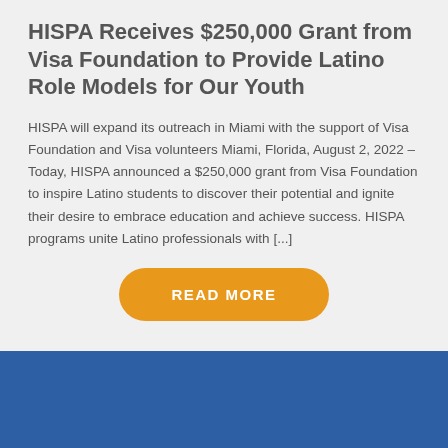HISPA Receives $250,000 Grant from Visa Foundation to Provide Latino Role Models for Our Youth
HISPA will expand its outreach in Miami with the support of Visa Foundation and Visa volunteers Miami, Florida, August 2, 2022 – Today, HISPA announced a $250,000 grant from Visa Foundation to inspire Latino students to discover their potential and ignite their desire to embrace education and achieve success. HISPA programs unite Latino professionals with [...]
[Figure (other): Blue rectangular section at the bottom of the page with a lighter blue outlined box partially visible at the bottom]